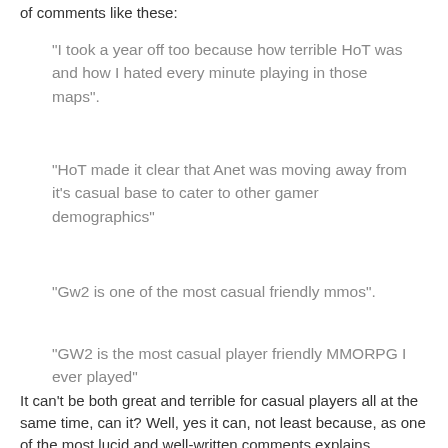of comments like these:
"I took a year off too because how terrible HoT was and how I hated every minute playing in those maps".
"HoT made it clear that Anet was moving away from it's casual base to cater to other gamer demographics"
"Gw2 is one of the most casual friendly mmos".
"GW2 is the most casual player friendly MMORPG I ever played"
It can't be both great and terrible for casual players all at the same time, can it? Well, yes it can, not least because, as one of the most lucid and well-written comments explains,